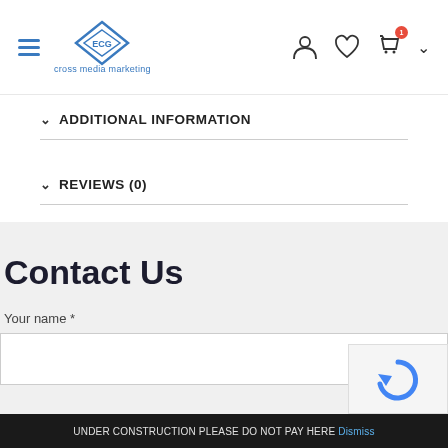ECG cross media marketing — navigation header with hamburger menu, logo, user icon, wishlist icon, cart icon
ADDITIONAL INFORMATION
REVIEWS (0)
Contact Us
Your name *
UNDER CONSTRUCTION PLEASE DO NOT PAY HERE Dismiss